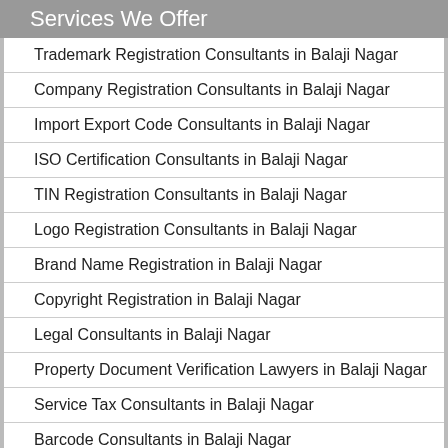Services We Offer
Trademark Registration Consultants in Balaji Nagar
Company Registration Consultants in Balaji Nagar
Import Export Code Consultants in Balaji Nagar
ISO Certification Consultants in Balaji Nagar
TIN Registration Consultants in Balaji Nagar
Logo Registration Consultants in Balaji Nagar
Brand Name Registration in Balaji Nagar
Copyright Registration in Balaji Nagar
Legal Consultants in Balaji Nagar
Property Document Verification Lawyers in Balaji Nagar
Service Tax Consultants in Balaji Nagar
Barcode Consultants in Balaji Nagar
Trade License Consultants in Balaji Nagar